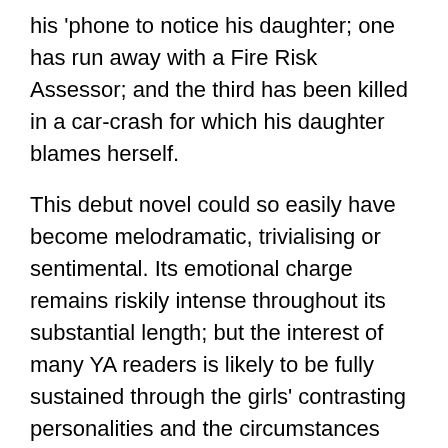his 'phone to notice his daughter; one has run away with a Fire Risk Assessor; and the third has been killed in a car-crash for which his daughter blames herself.
This debut novel could so easily have become melodramatic, trivialising or sentimental. Its emotional charge remains riskily intense throughout its substantial length; but the interest of many YA readers is likely to be fully sustained through the girls' contrasting personalities and the circumstances which lead them to MementoMori; it is here that they are introduced to each other as partners in the pact and given clear procedures and dates leading to Termination. Readers will also be engaged by the different ways of storytelling adopted by Mehreen, Cara and Olivia. A reader would immediately know, opening any page at random, which of the three is currently moving the story on. Frequently, there are inferences to be drawn as a reader goes beyond a